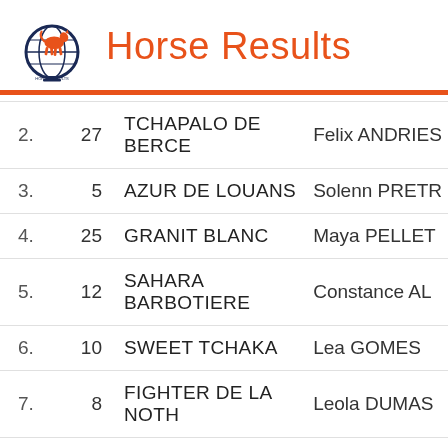[Figure (logo): Horse Results logo: globe with horse silhouette, navy blue outline]
Horse Results
| Rank | No. | Horse | Rider |
| --- | --- | --- | --- |
| 2. | 27 | TCHAPALO DE BERCE | Felix ANDRIES |
| 3. | 5 | AZUR DE LOUANS | Solenn PRETR |
| 4. | 25 | GRANIT BLANC | Maya PELLET |
| 5. | 12 | SAHARA BARBOTIERE | Constance AL |
| 6. | 10 | SWEET TCHAKA | Lea GOMES |
| 7. | 8 | FIGHTER DE LA NOTH | Leola DUMAS |